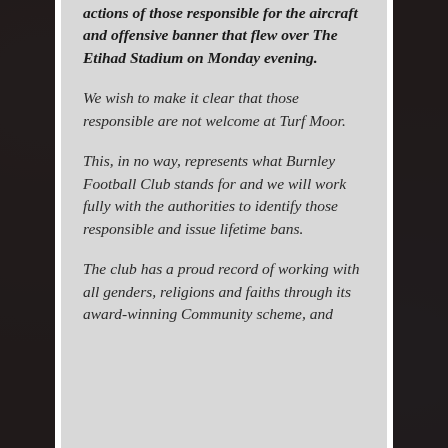actions of those responsible for the aircraft and offensive banner that flew over The Etihad Stadium on Monday evening.
We wish to make it clear that those responsible are not welcome at Turf Moor.
This, in no way, represents what Burnley Football Club stands for and we will work fully with the authorities to identify those responsible and issue lifetime bans.
The club has a proud record of working with all genders, religions and faiths through its award-winning Community scheme, and